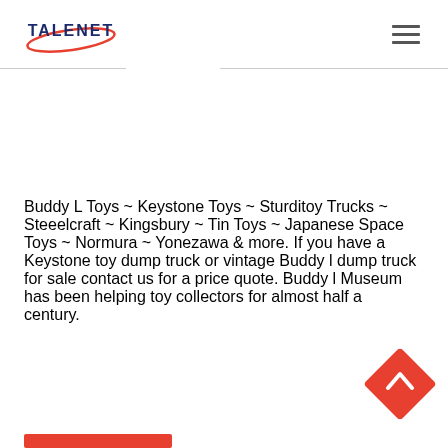TALENET
Buddy L Toys ~ Keystone Toys ~ Sturditoy Trucks ~ Steeelcraft ~ Kingsbury ~ Tin Toys ~ Japanese Space Toys ~ Normura ~ Yonezawa & more. If you have a Keystone toy dump truck or vintage Buddy l dump truck for sale contact us for a price quote. Buddy l Museum has been helping toy collectors for almost half a century.